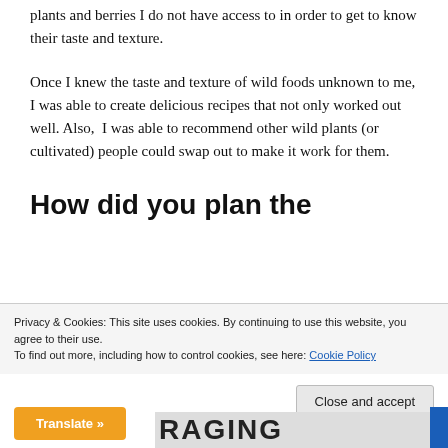plants and berries I do not have access to in order to get to know their taste and texture.
Once I knew the taste and texture of wild foods unknown to me, I was able to create delicious recipes that not only worked out well. Also, I was able to recommend other wild plants (or cultivated) people could swap out to make it work for them.
How did you plan the
Privacy & Cookies: This site uses cookies. By continuing to use this website, you agree to their use.
To find out more, including how to control cookies, see here: Cookie Policy
Close and accept
Translate »
RAGING